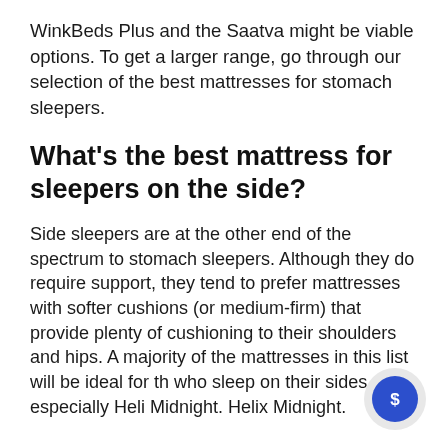WinkBeds Plus and the Saatva might be viable options. To get a larger range, go through our selection of the best mattresses for stomach sleepers.
What's the best mattress for sleepers on the side?
Side sleepers are at the other end of the spectrum to stomach sleepers. Although they do require support, they tend to prefer mattresses with softer cushions (or medium-firm) that provide plenty of cushioning to their shoulders and hips. A majority of the mattresses in this list will be ideal for those who sleep on their sides especially Helix Midnight. Helix Midnight.